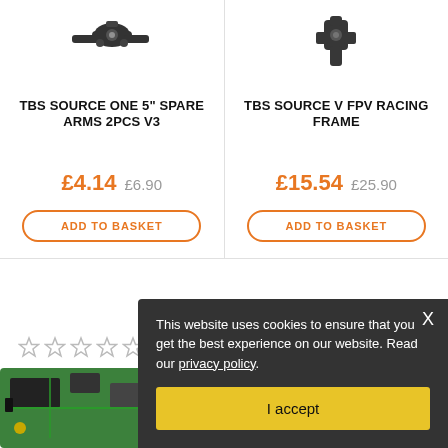[Figure (photo): Black drone arm spare part - TBS Source One 5 inch]
TBS SOURCE ONE 5" SPARE ARMS 2PCS V3
£4.14  £6.90
ADD TO BASKET
[Figure (photo): Black FPV racing frame connector part - TBS Source V]
TBS SOURCE V FPV RACING FRAME
£15.54  £25.90
ADD TO BASKET
[Figure (photo): Star rating row - 5 empty stars]
[Figure (photo): Circuit board / PCB product image partially visible at bottom left]
This website uses cookies to ensure that you get the best experience on our website. Read our privacy policy.
I accept